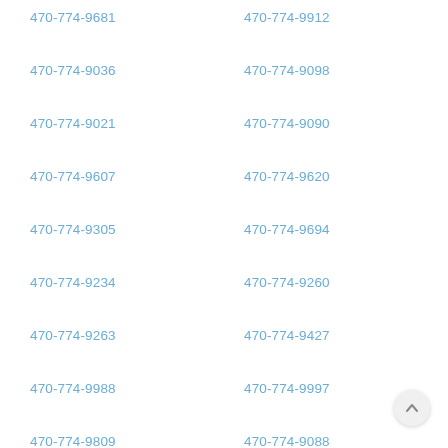470-774-9681
470-774-9912
470-774-9036
470-774-9098
470-774-9021
470-774-9090
470-774-9607
470-774-9620
470-774-9305
470-774-9694
470-774-9234
470-774-9260
470-774-9263
470-774-9427
470-774-9988
470-774-9997
470-774-9809
470-774-9088